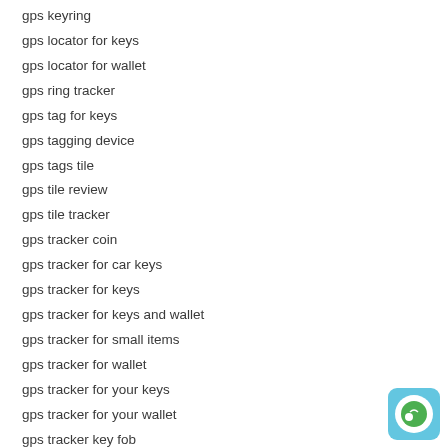gps keyring
gps locator for keys
gps locator for wallet
gps ring tracker
gps tag for keys
gps tagging device
gps tags tile
gps tile review
gps tile tracker
gps tracker coin
gps tracker for car keys
gps tracker for keys
gps tracker for keys and wallet
gps tracker for small items
gps tracker for wallet
gps tracker for your keys
gps tracker for your wallet
gps tracker key fob
gps tracker keychain
gps tracker keyring
[Figure (illustration): Chat/support icon: light blue rounded square with white circle containing a green circle with a white smiley/eye element inside]